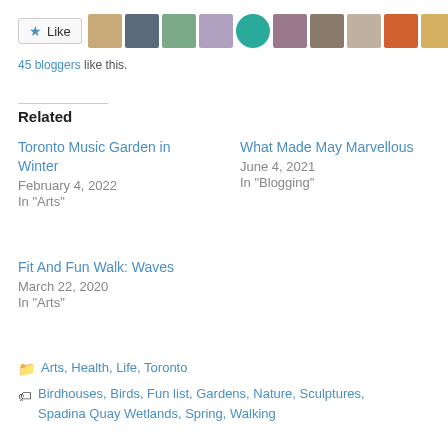[Figure (other): Like button with star icon and row of 11 blogger avatar thumbnails]
45 bloggers like this.
Related
Toronto Music Garden in Winter
February 4, 2022
In "Arts"
What Made May Marvellous
June 4, 2021
In "Blogging"
Fit And Fun Walk: Waves
March 22, 2020
In "Arts"
Arts, Health, Life, Toronto
Birdhouses, Birds, Fun list, Gardens, Nature, Sculptures, Spadina Quay Wetlands, Spring, Walking